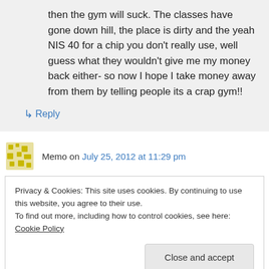then the gym will suck. The classes have gone down hill, the place is dirty and the yeah NIS 40 for a chip you don't really use, well guess what they wouldn't give me my money back either- so now I hope I take money away from them by telling people its a crap gym!!
↳ Reply
Memo on July 25, 2012 at 11:29 pm
Privacy & Cookies: This site uses cookies. By continuing to use this website, you agree to their use.
To find out more, including how to control cookies, see here: Cookie Policy
Close and accept
am>>>is there???